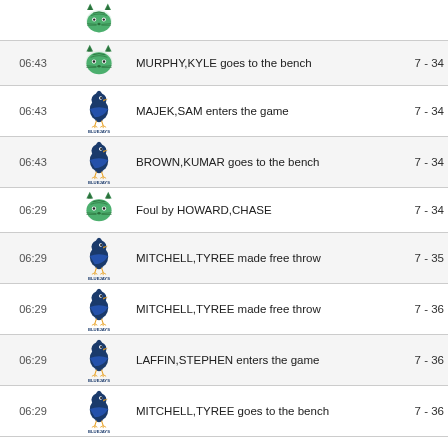| Time | Team | Action | Score |
| --- | --- | --- | --- |
|  |  | (logo only row) |  |
| 06:43 | Wildcat | MURPHY,KYLE goes to the bench | 7 - 34 |
| 06:43 | Bluejays | MAJEK,SAM enters the game | 7 - 34 |
| 06:43 | Bluejays | BROWN,KUMAR goes to the bench | 7 - 34 |
| 06:29 | Wildcat | Foul by HOWARD,CHASE | 7 - 34 |
| 06:29 | Bluejays | MITCHELL,TYREE made free throw | 7 - 35 |
| 06:29 | Bluejays | MITCHELL,TYREE made free throw | 7 - 36 |
| 06:29 | Bluejays | LAFFIN,STEPHEN enters the game | 7 - 36 |
| 06:29 | Bluejays | MITCHELL,TYREE goes to the bench | 7 - 36 |